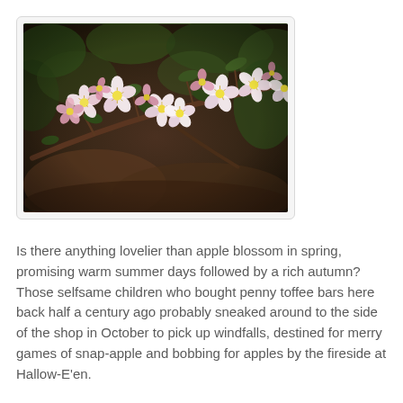[Figure (photo): A close-up photograph of apple blossoms in spring. Pink and white flowers with yellow centres on branches with dark green leaves, against a dark blurred background of foliage and earth tones.]
Is there anything lovelier than apple blossom in spring, promising warm summer days followed by a rich autumn? Those selfsame children who bought penny toffee bars here back half a century ago probably sneaked around to the side of the shop in October to pick up windfalls, destined for merry games of snap-apple and bobbing for apples by the fireside at Hallow-E'en.